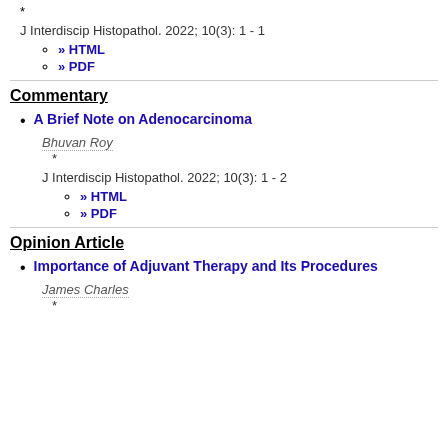*
J Interdiscip Histopathol. 2022; 10(3): 1 - 1
>> HTML
>> PDF
Commentary
A Brief Note on Adenocarcinoma
Bhuvan Roy
*
J Interdiscip Histopathol. 2022; 10(3): 1 - 2
>> HTML
>> PDF
Opinion Article
Importance of Adjuvant Therapy and Its Procedures
James Charles
*